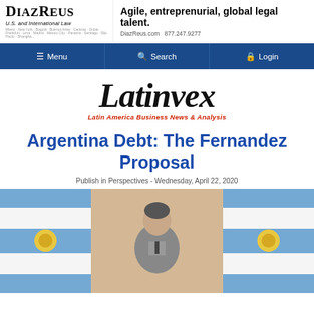DiazReus U.S. and International Law — Agile, entreprenurial, global legal talent. DiazReus.com 877.247.9277
Menu | Search | Login
Latinvex — Latin America Business News & Analysis
Argentina Debt: The Fernandez Proposal
Publish in Perspectives - Wednesday, April 22, 2020
[Figure (photo): Photo showing Argentine flags with a person standing in front of them]